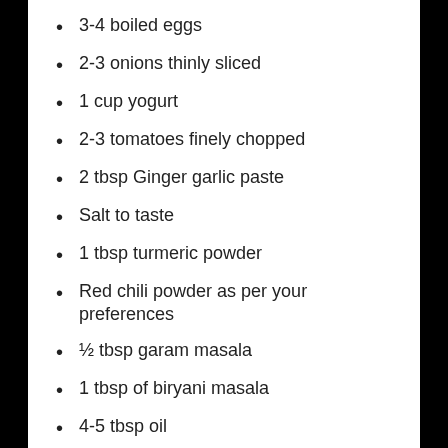3-4 boiled eggs
2-3 onions thinly sliced
1 cup yogurt
2-3 tomatoes finely chopped
2 tbsp Ginger garlic paste
Salt to taste
1 tbsp turmeric powder
Red chili powder as per your preferences
½ tbsp garam masala
1 tbsp of biryani masala
4-5 tbsp oil